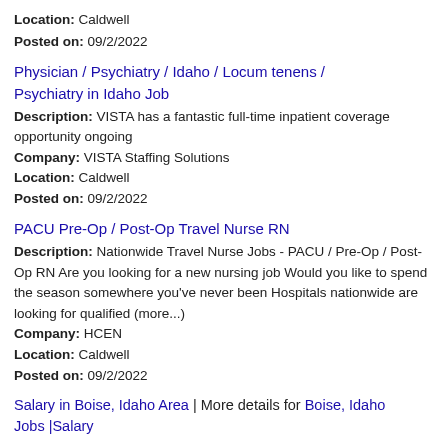Location: Caldwell
Posted on: 09/2/2022
Physician / Psychiatry / Idaho / Locum tenens / Psychiatry in Idaho Job
Description: VISTA has a fantastic full-time inpatient coverage opportunity ongoing
Company: VISTA Staffing Solutions
Location: Caldwell
Posted on: 09/2/2022
PACU Pre-Op / Post-Op Travel Nurse RN
Description: Nationwide Travel Nurse Jobs - PACU / Pre-Op / Post-Op RN Are you looking for a new nursing job Would you like to spend the season somewhere you've never been Hospitals nationwide are looking for qualified (more...)
Company: HCEN
Location: Caldwell
Posted on: 09/2/2022
Salary in Boise, Idaho Area | More details for Boise, Idaho Jobs |Salary
Telemetry Registered Nurse (RN) - Nationwide